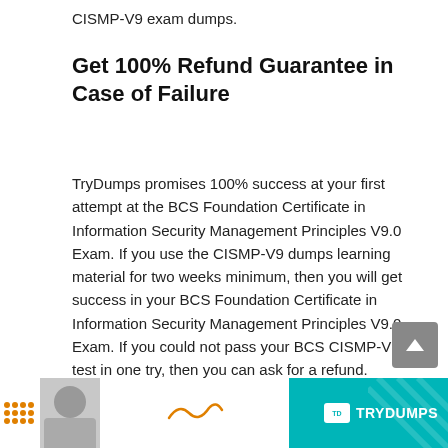CISMP-V9 exam dumps.
Get 100% Refund Guarantee in Case of Failure
TryDumps promises 100% success at your first attempt at the BCS Foundation Certificate in Information Security Management Principles V9.0 Exam. If you use the CISMP-V9 dumps learning material for two weeks minimum, then you will get success in your BCS Foundation Certificate in Information Security Management Principles V9.0 Exam. If you could not pass your BCS CISMP-V9 test in one try, then you can ask for a refund. TryDumps will send your payment back to you according to the refund policy.
[Figure (illustration): TryDumps promotional banner with person photo, dots pattern, and teal TryDumps logo on right side]